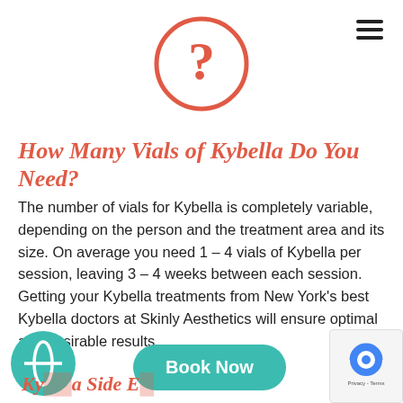[Figure (illustration): Coral/salmon colored circle outline with a question mark inside, centered near top of page]
[Figure (illustration): Hamburger menu icon (three horizontal lines) in top right corner]
How Many Vials of Kybella Do You Need?
The number of vials for Kybella is completely variable, depending on the person and the treatment area and its size. On average you need 1 – 4 vials of Kybella per session, leaving 3 – 4 weeks between each session. Getting your Kybella treatments from New York's best Kybella doctors at Skinly Aesthetics will ensure optimal and desirable results.
[Figure (logo): Teal circular logo with leaf/diamond shape in bottom left]
Book Now
Kybella Side E...